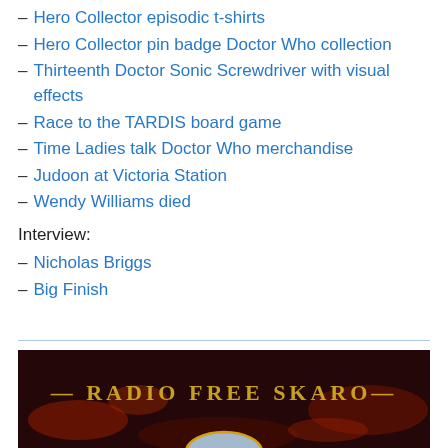– Hero Collector episodic t-shirts
– Hero Collector pin badge Doctor Who collection
– Thirteenth Doctor Sonic Screwdriver with visual effects
– Race to the TARDIS board game
– Time Ladies talk Doctor Who merchandise
– Judoon at Victoria Station
– Wendy Williams died
Interview:
– Nicholas Briggs
– Big Finish
[Figure (photo): Radio Free Skaro banner image showing a dark planet/Skaro surface with the text 'RADIO FREE SKARO' in gold lettering and an orb/planet rising from the bottom]